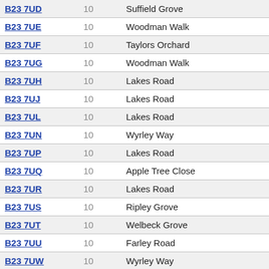| Postcode | Count | Street | Page |
| --- | --- | --- | --- |
| B23 7UD | 10 | Suffield Grove | 4 |
| B23 7UE | 10 | Woodman Walk | 4 |
| B23 7UF | 10 | Taylors Orchard | 5 |
| B23 7UG | 10 | Woodman Walk | 4 |
| B23 7UH | 10 | Lakes Road | 12 |
| B23 7UJ | 10 | Lakes Road | 11 |
| B23 7UL | 10 | Lakes Road | 6 |
| B23 7UN | 10 | Wyrley Way | 8 |
| B23 7UP | 10 | Lakes Road | 2 |
| B23 7UQ | 10 | Apple Tree Close | 4 |
| B23 7UR | 10 | Lakes Road | 7 |
| B23 7US | 10 | Ripley Grove | 6 |
| B23 7UT | 10 | Welbeck Grove | 6 |
| B23 7UU | 10 | Farley Road | 7 |
| B23 7UW | 10 | Wyrley Way | 6 |
| B23 7UX | 10 | Brookvale Park Road | 8 |
| B23 7WA | 10 | Cygnet Grove | 7 |